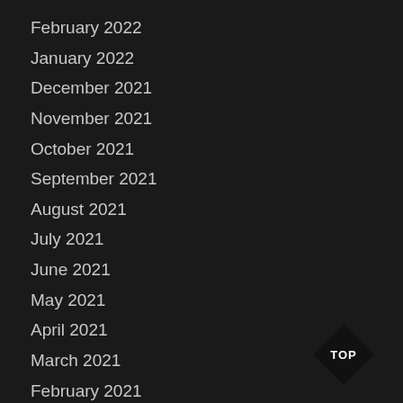February 2022
January 2022
December 2021
November 2021
October 2021
September 2021
August 2021
July 2021
June 2021
May 2021
April 2021
March 2021
February 2021
January 2021
December 2020
[Figure (other): TOP navigation button — black diamond/rhombus shape with white text 'TOP' in the bottom-right corner]